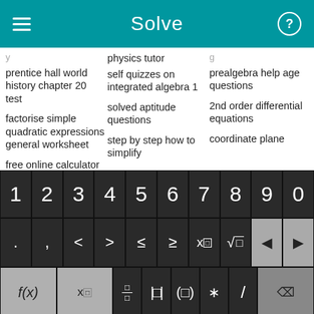Solve
prentice hall world history chapter 20 test
factorise simple quadratic expressions general worksheet
free online calculator to add
physics tutor
self quizzes on integrated algebra 1
solved aptitude questions
step by step how to simplify
prealgebra help age questions
2nd order differential equations
coordinate plane
[Figure (screenshot): Math keyboard with digits 1-0, symbols (<, >, ≤, ≥, x^, √, back/forward arrows), function keys (f(x), x_□, fraction, absolute value, parentheses, *, /, delete), and bottom row (abc, rotate, x, y, =, +, -, Solve! button)]